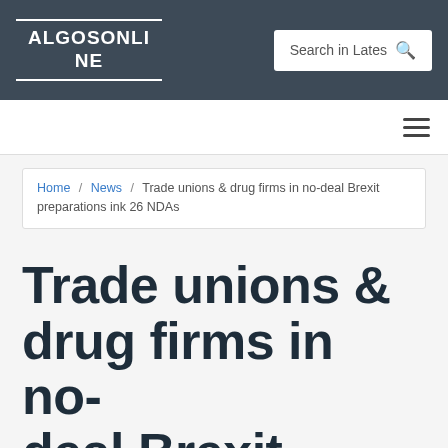ALGOSONLINE
Search in Lates
Home / News / Trade unions & drug firms in no-deal Brexit preparations ink 26 NDAs
Trade unions & drug firms in no-deal Brexit preparations ink